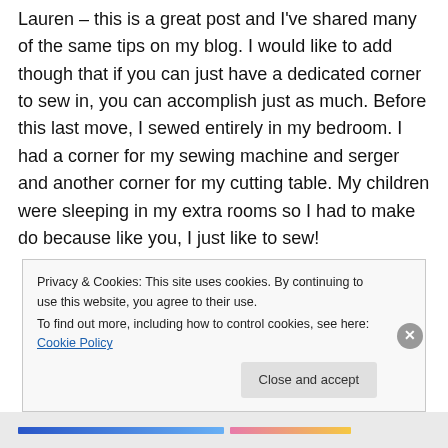Lauren – this is a great post and I've shared many of the same tips on my blog. I would like to add though that if you can just have a dedicated corner to sew in, you can accomplish just as much. Before this last move, I sewed entirely in my bedroom. I had a corner for my sewing machine and serger and another corner for my cutting table. My children were sleeping in my extra rooms so I had to make do because like you, I just like to sew!
Privacy & Cookies: This site uses cookies. By continuing to use this website, you agree to their use. To find out more, including how to control cookies, see here: Cookie Policy